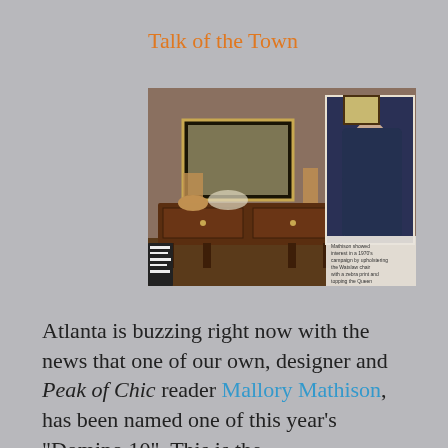Talk of the Town
[Figure (photo): Magazine spread showing an interior room with a wooden sideboard and decorative mirror on the left, and a woman sitting in a blue upholstered chair on the right, with a small caption text overlay in the lower right of the image.]
Atlanta is buzzing right now with the news that one of our own, designer and Peak of Chic reader Mallory Mathison, has been named one of this year's "Domino 10". This is the